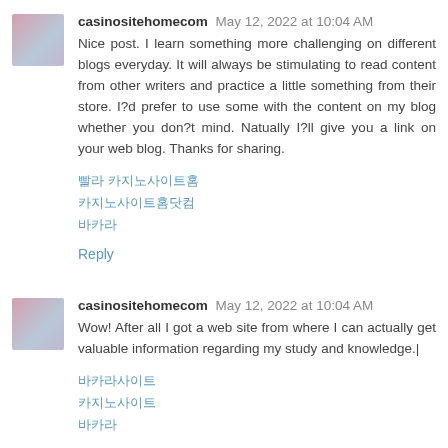casinositehomecom May 12, 2022 at 10:04 AM
Nice post. I learn something more challenging on different blogs everyday. It will always be stimulating to read content from other writers and practice a little something from their store. I?d prefer to use some with the content on my blog whether you don?t mind. Natually I?ll give you a link on your web blog. Thanks for sharing.
빨라 카지노사이트홈 바카라
Reply
casinositehomecom May 12, 2022 at 10:04 AM
Wow! After all I got a web site from where I can actually get valuable information regarding my study and knowledge.|
바카라사이트 카지노사이트 바카라